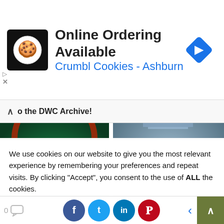[Figure (screenshot): Advertisement banner: Online Ordering Available - Crumbl Cookies - Ashburn with logo and navigation arrow icon]
o the DWC Archive!
[Figure (photo): Doctor Who cast photo - colorful scene with multiple actors]
John Bishop: It's an Honour
[Figure (photo): Dalek robot from Doctor Who in a smoky room]
Chris Chibnall Reflects on
We use cookies on our website to give you the most relevant experience by remembering your preferences and repeat visits. By clicking "Accept", you consent to the use of ALL the cookies.

Do not sell my personal information.
[Figure (screenshot): Bottom navigation bar with social share buttons (Facebook, Twitter, LinkedIn, Pinterest), comment count, back arrow, and scroll-to-top button]